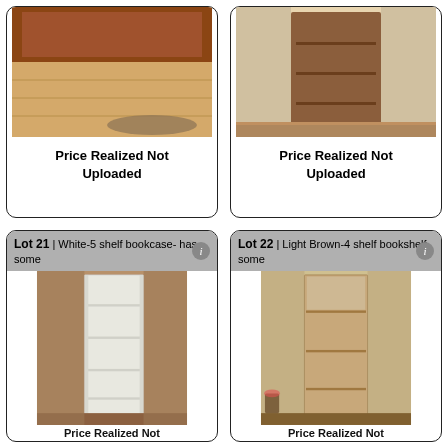[Figure (photo): Photo of a wooden floor area with rug near an entryway]
Price Realized Not Uploaded
[Figure (photo): Photo of a wooden 3-shelf bookcase against a wall]
Price Realized Not Uploaded
Lot 21 | White-5 shelf bookcase- has some
[Figure (photo): Photo of a tall white 5-shelf bookcase]
Price Realized Not
Lot 22 | Light Brown-4 shelf bookshelf- some
[Figure (photo): Photo of a light brown 4-shelf bookshelf]
Price Realized Not